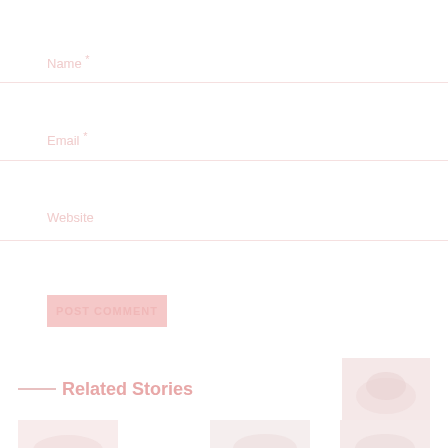Name *
Email *
Website
POST COMMENT
Related Stories
[Figure (photo): Small thumbnail image on the right side, showing a faint pinkish landscape or abstract image]
[Figure (photo): Small thumbnail image bottom left, faint reddish tones]
[Figure (photo): Small thumbnail image bottom middle, faint pinkish tones]
[Figure (photo): Small thumbnail image bottom right, faint pinkish tones]